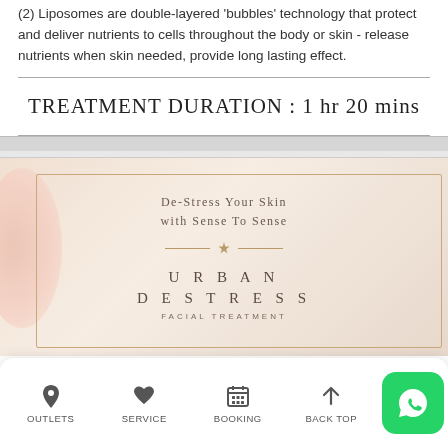(2) Liposomes are double-layered 'bubbles' technology that protect and deliver nutrients to cells throughout the body or skin - release nutrients when skin needed, provide long lasting effect.
TREATMENT DURATION : 1 hr 20 mins
[Figure (illustration): Advertisement for Sense To Sense spa brand showing 'De-Stress Your Skin with Sense To Sense' tagline with 'URBAN DESTRESS FACIAL TREATMENT' text inside a gold-bordered frame on a warm beige/peach background.]
OUTLETS  SERVICE  BOOKING  BACK TOP  (WhatsApp button)